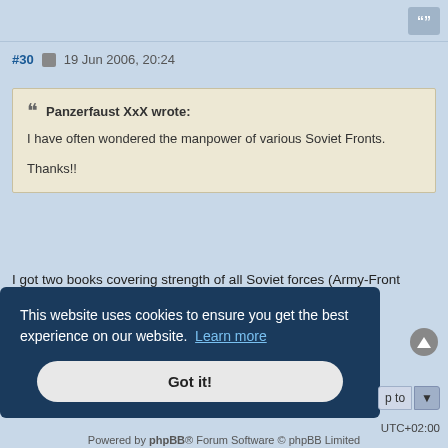#30  19 Jun 2006, 20:24
Panzerfaust XxX wrote:
I have often wondered the manpower of various Soviet Fronts.

Thanks!!
I got two books covering strength of all Soviet forces (Army-Front scale) on June 22'41 and Nov 20'42
Alex
This website uses cookies to ensure you get the best experience on our website.  Learn more
Got it!
Powered by phpBB® Forum Software © phpBB Limited